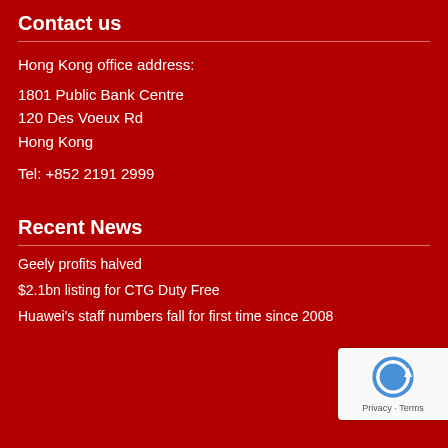Contact us
Hong Kong office address:
1801 Public Bank Centre
120 Des Voeux Rd
Hong Kong
Tel: +852 2191 2999
Recent News
Geely profits halved
$2.1bn listing for CTG Duty Free
Huawei's staff numbers fall for first time since 2008